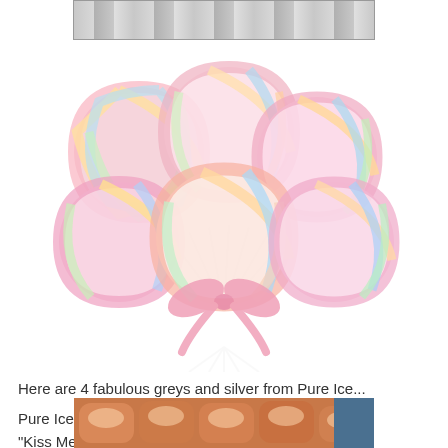[Figure (photo): Top portion of a photo showing silver/metallic nail polish or similar metallic items arranged in a row]
[Figure (photo): A bouquet of rainbow swirl lollipops with pastel colors (pink, blue, yellow, green) tied together with a pink ribbon bow]
Here are 4 fabulous greys and silver from Pure Ice...
Pure Ice
"Kiss Me Here"
2 coats, no top coat
[Figure (photo): Bottom portion showing painted fingernails with a shimmery/glittery nail polish]